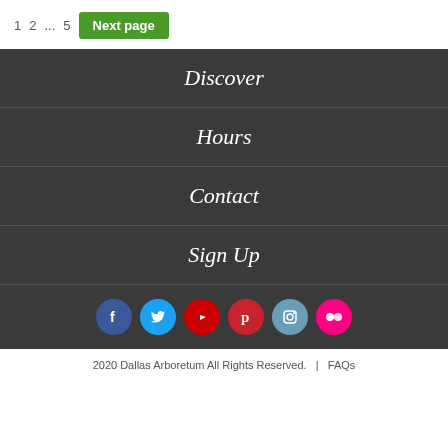1  2  ...  5  Next page
Discover
Hours
Contact
Sign Up
[Figure (infographic): Social media icons row: Facebook, Twitter, YouTube, Pinterest, Instagram, Flickr]
2020 Dallas Arboretum All Rights Reserved.  |  FAQs